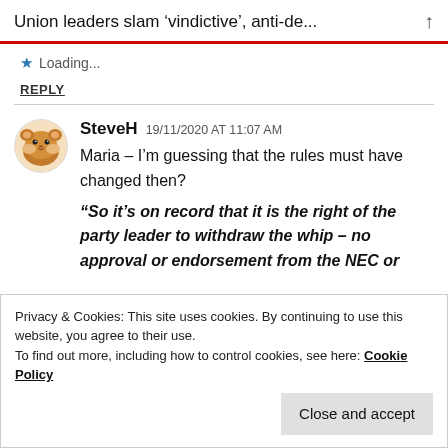Union leaders slam ‘vindictive’, anti-de...
Loading...
REPLY
SteveH  19/11/2020 AT 11:07 AM
Maria – I’m guessing that the rules must have changed then?
“So it’s on record that it is the right of the party leader to withdraw the whip – no approval or endorsement from the NEC or
Privacy & Cookies: This site uses cookies. By continuing to use this website, you agree to their use.
To find out more, including how to control cookies, see here: Cookie Policy
Close and accept